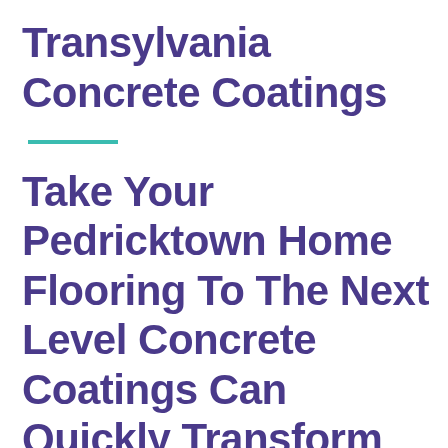Transylvania Concrete Coatings — Take Your Pedricktown Home Flooring To The Next Level Concrete Coatings Can Quickly Transform Damaged Floors Into A Beautiful, Functional Feature.